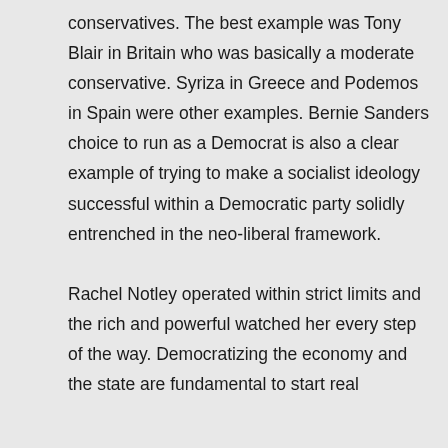conservatives. The best example was Tony Blair in Britain who was basically a moderate conservative. Syriza in Greece and Podemos in Spain were other examples. Bernie Sanders choice to run as a Democrat is also a clear example of trying to make a socialist ideology successful within a Democratic party solidly entrenched in the neo-liberal framework. Rachel Notley operated within strict limits and the rich and powerful watched her every step of the way. Democratizing the economy and the state are fundamental to start real